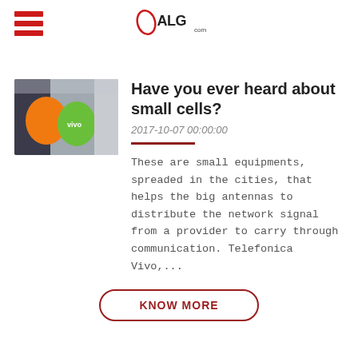ALG.com
[Figure (photo): Photo of orange and green Vivo SIM card promotional items/displays on a street]
Have you ever heard about small cells?
2017-10-07 00:00:00
These are small equipments, spreaded in the cities, that helps the big antennas to distribute the network signal from a provider to carry through communication. Telefonica Vivo,...
KNOW MORE